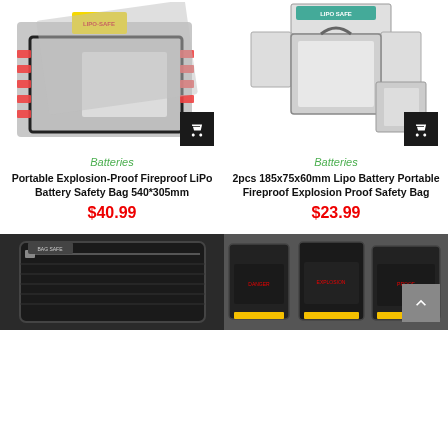[Figure (photo): Portable Explosion-Proof Fireproof LiPo Battery Safety Bag 540x305mm - flat grey bag open with velcro straps]
Batteries
Portable Explosion-Proof Fireproof LiPo Battery Safety Bag 540*305mm
$40.99
[Figure (photo): 2pcs 185x75x60mm Lipo Battery Portable Fireproof Explosion Proof Safety Bag - white box-style bags open]
Batteries
2pcs 185x75x60mm Lipo Battery Portable Fireproof Explosion Proof Safety Bag
$23.99
[Figure (photo): Black fireproof document/battery bag with zipper]
[Figure (photo): Multiple black LiPo battery safety bags with branding]